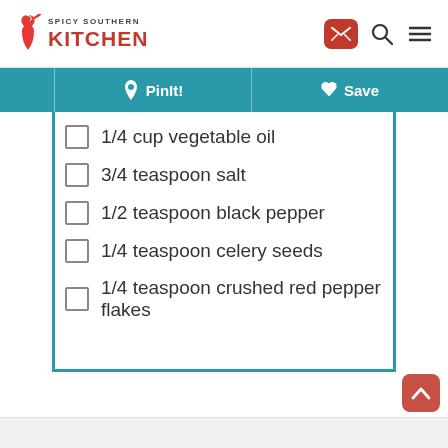Spicy Southern Kitchen
1/4 cup vegetable oil
3/4 teaspoon salt
1/2 teaspoon black pepper
1/4 teaspoon celery seeds
1/4 teaspoon crushed red pepper flakes